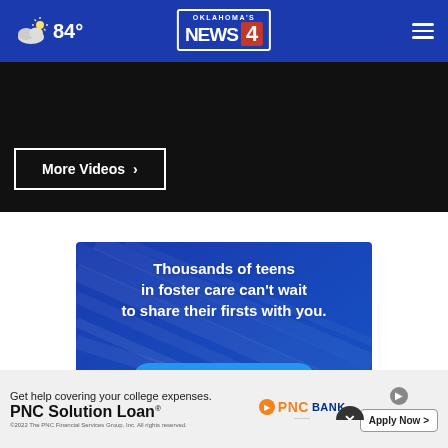Oklahoma's News 4 — 84°
More Videos ›
[Figure (infographic): Foster care adoption advertisement with text: 'Thousands of teens in foster care can't wait to share their firsts with you.' and a 'Learn About Adoption' button on a blue wood-grain background]
[Figure (infographic): PNC Bank advertisement: 'Get help covering your college expenses. PNC Solution Loan® ©2022 The PNC Financial Services Group, Inc. All rights reserved.' with 'Apply Now >' button]